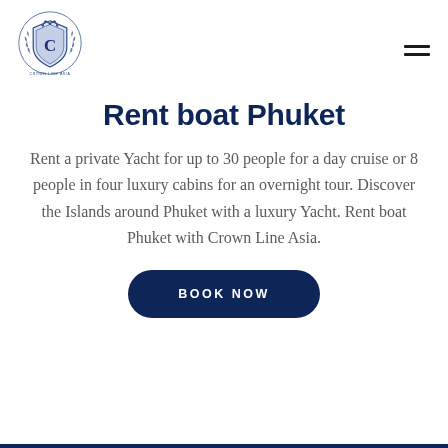[Figure (logo): Crown Line Asia crest logo — circular blue heraldic shield with laurel wreath and letter C, company name beneath]
Rent boat Phuket
Rent a private Yacht for up to 30 people for a day cruise or 8 people in four luxury cabins for an overnight tour. Discover the Islands around Phuket with a luxury Yacht. Rent boat Phuket with Crown Line Asia.
BOOK NOW